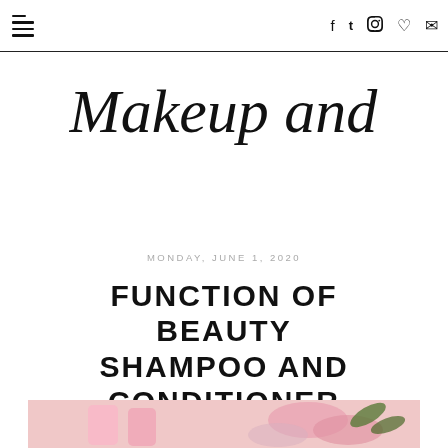≡  f  twitter  pinterest  instagram  ♥  mail
[Figure (logo): Makeup and Masala blog logo in cursive script]
MONDAY, JUNE 1, 2020
FUNCTION OF BEAUTY SHAMPOO AND CONDITIONER REVIEW
[Figure (photo): Photo of pink shampoo/conditioner bottles with flowers]